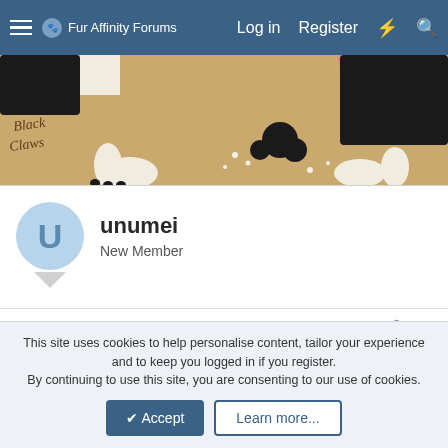Fur Affinity Forums  Log in  Register
[Figure (illustration): Banner illustration showing a black and white animal (dog/furry character) paws and body on a tan/sandy background with text 'white Socks Black Claws' in handwritten style]
unumei
New Member
Apr 29, 2015
#17
Hello, I don't have a completed reference page, but you would get this style:
http://d.facdn.net/art/unumei/1339628634/1339628634.unumei_redpanda.png
Two full bodies and two headshots, with additional
This site uses cookies to help personalise content, tailor your experience and to keep you logged in if you register.
By continuing to use this site, you are consenting to our use of cookies.
Accept  Learn more...